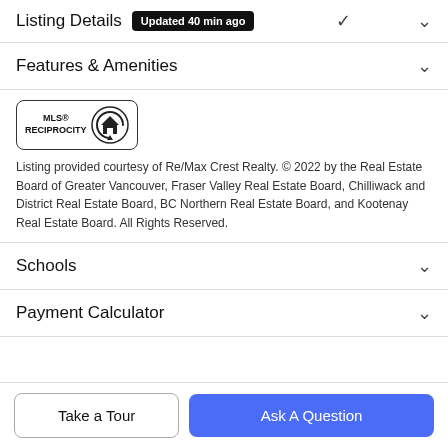Listing Details Updated 40 min ago
Features & Amenities
[Figure (logo): MLS Reciprocity logo — circular arrow icon with house symbol and MLS RECIPROCITY text]
Listing provided courtesy of Re/Max Crest Realty. © 2022 by the Real Estate Board of Greater Vancouver, Fraser Valley Real Estate Board, Chilliwack and District Real Estate Board, BC Northern Real Estate Board, and Kootenay Real Estate Board. All Rights Reserved.
Schools
Payment Calculator
Take a Tour
Ask A Question